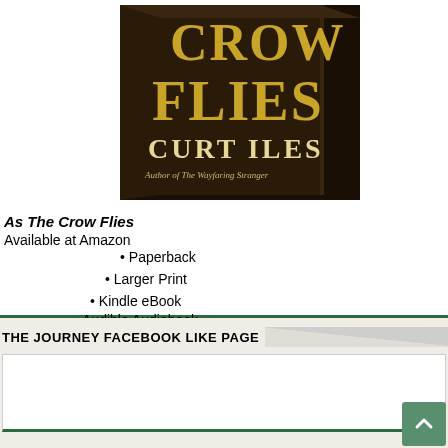[Figure (illustration): Book cover for 'As The Crow Flies' by Curt Iles, showing a dark brown/black hardcover book with gold lettering for the title and author name, with subtitle 'Author of The Wayfaring Stranger']
As The Crow Flies Available at Amazon
Paperback
Larger Print
Kindle eBook
Audible Audiobook
THE JOURNEY FACEBOOK LIKE PAGE
[Figure (screenshot): Empty Facebook Like page widget box]